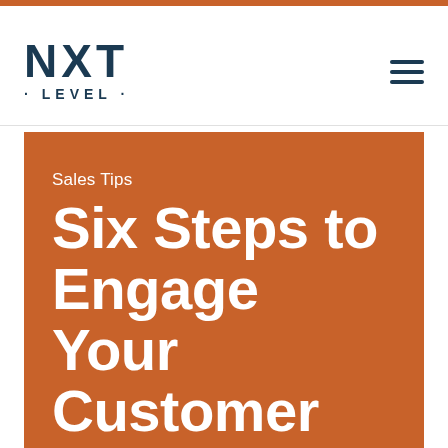[Figure (logo): NXT LEVEL logo in dark navy blue, large bold NXT text with LEVEL below in spaced caps]
[Figure (other): Hamburger menu icon with three horizontal dark navy lines]
Sales Tips
Six Steps to Engage Your Customer